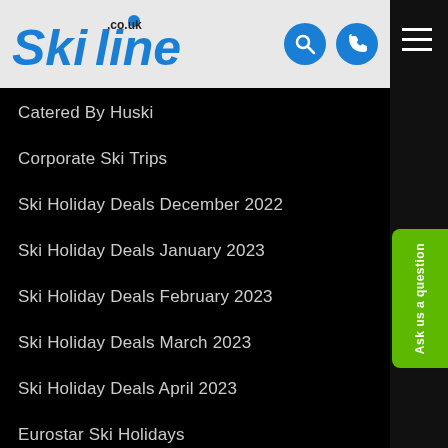Skiline.co.uk
Catered By Huski
Corporate Ski Trips
Ski Holiday Deals December 2022
Ski Holiday Deals January 2023
Ski Holiday Deals February 2023
Ski Holiday Deals March 2023
Ski Holiday Deals April 2023
Eurostar Ski Holidays
Lapland Holidays & Santa Trips
Luxury Ski Chalet Holidays